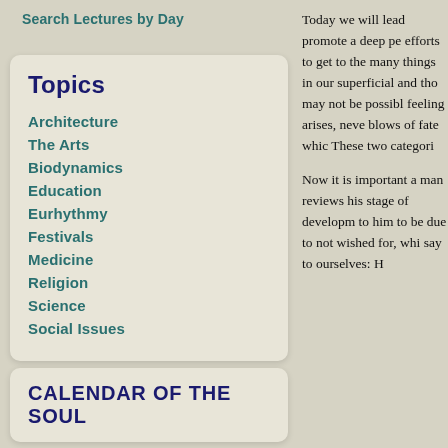Search Lectures by Day
Topics
Architecture
The Arts
Biodynamics
Education
Eurhythmy
Festivals
Medicine
Religion
Science
Social Issues
CALENDAR OF THE SOUL
Today we will lead promote a deep pe efforts to get to the many things in our superficial and tho may not be possibl feeling arises, neve blows of fate whic These two categori
Now it is important a man reviews his stage of developm to him to be due to not wished for, whi say to ourselves: H